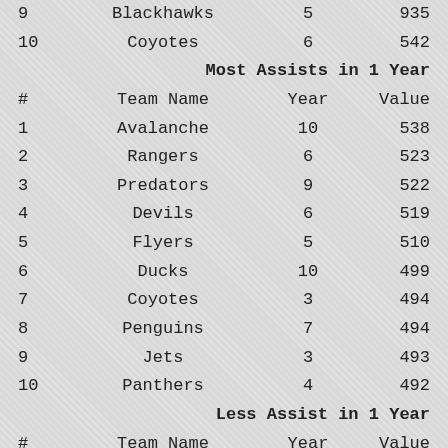| # | Team Name | Year | Value |
| --- | --- | --- | --- |
| 9 | Blackhawks | 5 | 935 |
| 10 | Coyotes | 6 | 542 |
Most Assists in 1 Year
| # | Team Name | Year | Value |
| --- | --- | --- | --- |
| 1 | Avalanche | 10 | 538 |
| 2 | Rangers | 6 | 523 |
| 3 | Predators | 9 | 522 |
| 4 | Devils | 6 | 519 |
| 5 | Flyers | 5 | 510 |
| 6 | Ducks | 10 | 499 |
| 7 | Coyotes | 3 | 494 |
| 8 | Penguins | 7 | 494 |
| 9 | Jets | 3 | 493 |
| 10 | Panthers | 4 | 492 |
Less Assist in 1 Year
| # | Team Name | Year | Value |
| --- | --- | --- | --- |
| 1 | Flames | 1 | 132 |
| 2 | Canadiens | 1 | 150 |
| 3 | Islanders | 1 | 163 |
| 4 | Canucks | 1 | 191 |
| 5 | Kings | 1 | 205 |